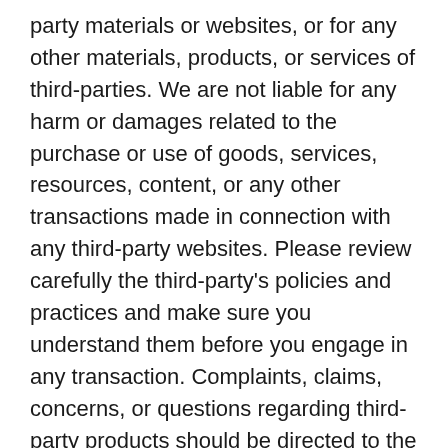party materials or websites, or for any other materials, products, or services of third-parties. We are not liable for any harm or damages related to the purchase or use of goods, services, resources, content, or any other transactions made in connection with any third-party websites. Please review carefully the third-party's policies and practices and make sure you understand them before you engage in any transaction. Complaints, claims, concerns, or questions regarding third-party products should be directed to the third-party.
SECTION 9 – USER COMMENTS, FEEDBACK AND OTHER SUBMISSIONS
If, at our request, you send certain specific submissions (for example contest entries) or without a request from us you send creative ideas, suggestions,